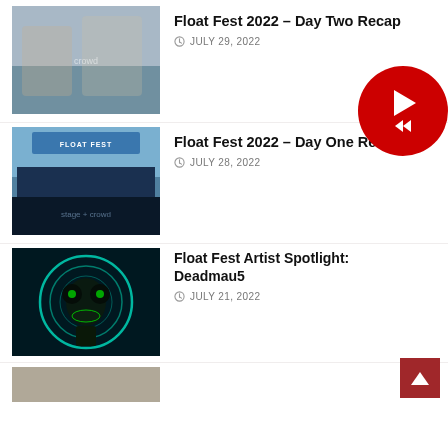[Figure (photo): Festival crowd with people cheering]
Float Fest 2022 – Day Two Recap
JULY 29, 2022
[Figure (photo): Float Fest 2022 main stage with crowd]
Float Fest 2022 – Day One Recap
JULY 28, 2022
[Figure (photo): Deadmau5 DJ with glowing mouse helmet]
Float Fest Artist Spotlight: Deadmau5
JULY 21, 2022